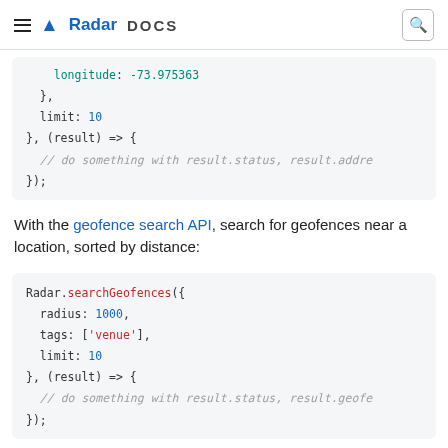Radar DOCS
longitude: -73.975363
    },
    limit: 10
}, (result) => {
    // do something with result.status, result.addre
});
With the geofence search API, search for geofences near a location, sorted by distance:
Radar.searchGeofences({
    radius: 1000,
    tags: ['venue'],
    limit: 10
}, (result) => {
    // do something with result.status, result.geofe
});